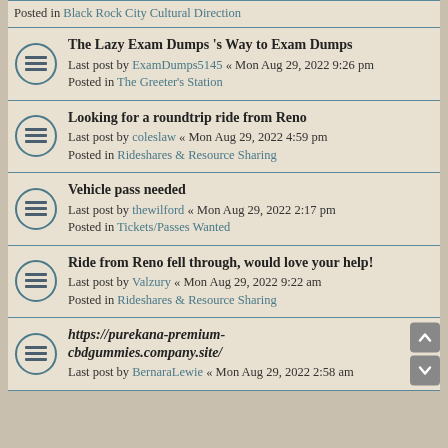Posted in Black Rock City Cultural Direction
The Lazy Exam Dumps 's Way to Exam Dumps
Last post by ExamDumps5145 « Mon Aug 29, 2022 9:26 pm
Posted in The Greeter's Station
Looking for a roundtrip ride from Reno
Last post by coleslaw « Mon Aug 29, 2022 4:59 pm
Posted in Rideshares & Resource Sharing
Vehicle pass needed
Last post by thewilford « Mon Aug 29, 2022 2:17 pm
Posted in Tickets/Passes Wanted
Ride from Reno fell through, would love your help!
Last post by Valzury « Mon Aug 29, 2022 9:22 am
Posted in Rideshares & Resource Sharing
https://purekana-premium-cbdgummies.company.site/
Last post by BernaraLewie « Mon Aug 29, 2022 2:58 am